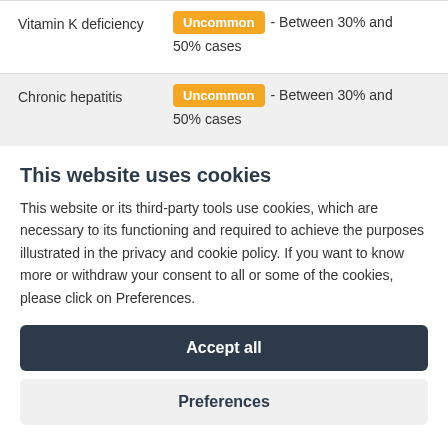| Condition | Frequency | Details |
| --- | --- | --- |
| Vitamin K deficiency | Uncommon | - Between 30% and 50% cases |
| Chronic hepatitis | Uncommon | - Between 30% and 50% cases |
This website uses cookies
This website or its third-party tools use cookies, which are necessary to its functioning and required to achieve the purposes illustrated in the privacy and cookie policy. If you want to know more or withdraw your consent to all or some of the cookies, please click on Preferences.
Accept all
Preferences